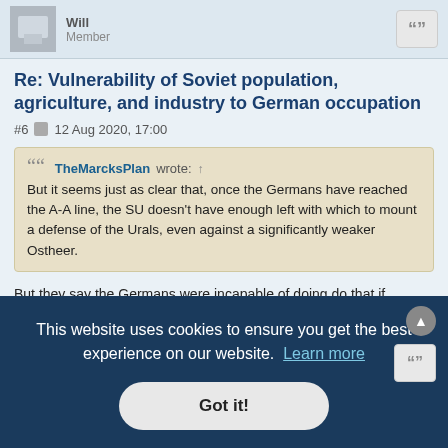Will | Member
Re: Vulnerability of Soviet population, agriculture, and industry to German occupation
#6  12 Aug 2020, 17:00
TheMarcksPlan wrote: ↑ But it seems just as clear that, once the Germans have reached the A-A line, the SU doesn't have enough left with which to mount a defense of the Urals, even against a significantly weaker Ostheer.
But they say the Germans were incapable of doing do that if opposed. Their Ponje carts and their masses of horses weren't up to the task. The German Army was getting weaker and weaker with every mile of its
This website uses cookies to ensure you get the best experience on our website. Learn more
Got it!